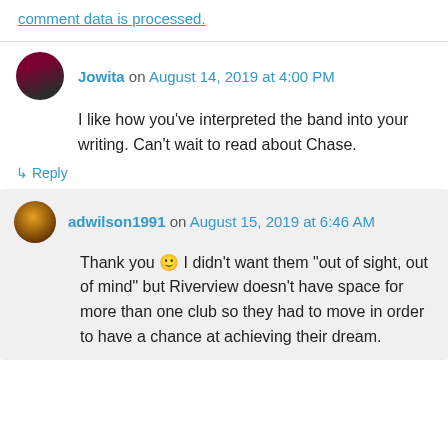comment data is processed.
Jowita on August 14, 2019 at 4:00 PM
I like how you've interpreted the band into your writing. Can't wait to read about Chase.
↳ Reply
adwilson1991 on August 15, 2019 at 6:46 AM
Thank you 🙂 I didn't want them "out of sight, out of mind" but Riverview doesn't have space for more than one club so they had to move in order to have a chance at achieving their dream.